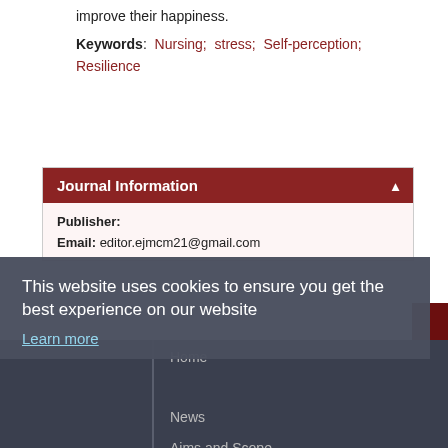improve their happiness.
Keywords: Nursing; stress; Self-perception; Resilience
Journal Information
Publisher:
Email: editor.ejmcm21@gmail.com
This website uses cookies to ensure you get the best experience on our website
Learn more
Home
Glossary   Got it!
News
Aims and Scope
Privacy Policy